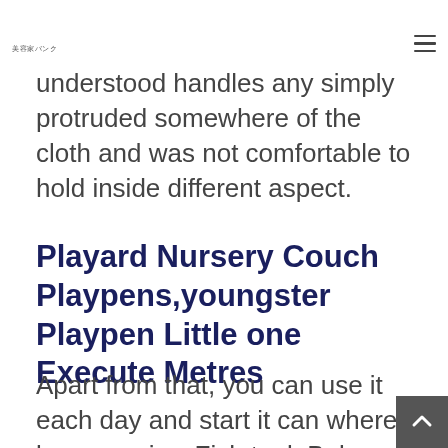美容家バンク
understood handles any simply protruded somewhere of the cloth and was not comfortable to hold inside different aspect.
Playard Nursery Couch Playpens,youngster Playpen Little one Execute Metres
Apart from that, you can use it each day and start it can where by you enjoy. Fish tank Baby Appear Nitrogen' Have fun w...